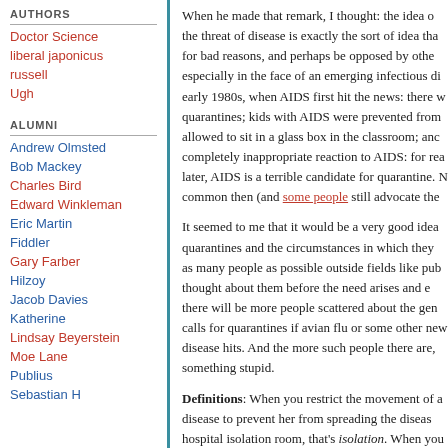AUTHORS
Doctor Science
liberal japonicus
russell
Ugh
ALUMNI
Andrew Olmsted
Bob Mackey
Charles Bird
Edward Winkleman
Eric Martin
Fiddler
Gary Farber
Hilzoy
Jacob Davies
Katherine
Lindsay Beyerstein
Moe Lane
Publius
Sebastian H
When he made that remark, I thought: the idea of the threat of disease is exactly the sort of idea that for bad reasons, and perhaps be opposed by others especially in the face of an emerging infectious di early 1980s, when AIDS first hit the news: there w quarantines; kids with AIDS were prevented from allowed to sit in a glass box in the classroom; and completely inappropriate reaction to AIDS: for rea later, AIDS is a terrible candidate for quarantine. N common then (and some people still advocate the
It seemed to me that it would be a very good idea quarantines and the circumstances in which they as many people as possible outside fields like pu thought about them before the need arises and e there will be more people scattered about the gen calls for quarantines if avian flu or some other ne disease hits. And the more such people there are something stupid.
Definitions: When you restrict the movement of a disease to prevent her from spreading the diseas hospital isolation room, that's isolation. When you people you suspect might have a disease to keep